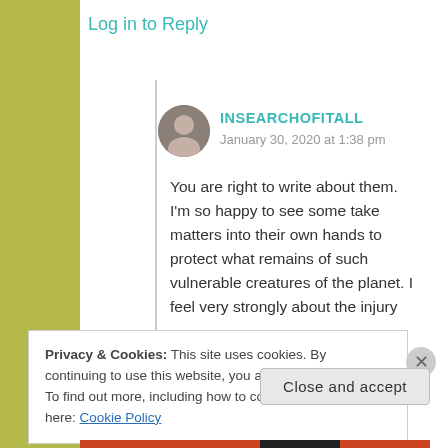Log in to Reply
INSEARCHOFITALL
January 30, 2020 at 1:38 pm
You are right to write about them. I'm so happy to see some take matters into their own hands to protect what remains of such vulnerable creatures of the planet. I feel very strongly about the injury
Privacy & Cookies: This site uses cookies. By continuing to use this website, you agree to their use.
To find out more, including how to control cookies, see here: Cookie Policy
Close and accept